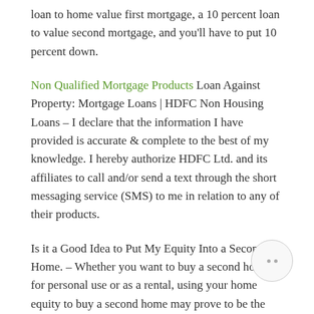loan to home value first mortgage, a 10 percent loan to value second mortgage, and you'll have to put 10 percent down.
Non Qualified Mortgage Products Loan Against Property: Mortgage Loans | HDFC Non Housing Loans – I declare that the information I have provided is accurate & complete to the best of my knowledge. I hereby authorize HDFC Ltd. and its affiliates to call and/or send a text through the short messaging service (SMS) to me in relation to any of their products.
Is it a Good Idea to Put My Equity Into a Second Home. – Whether you want to buy a second home for personal use or as a rental, using your home equity to buy a second home may prove to be the way to do it. If you have sufficient equity in your house or own it outright,